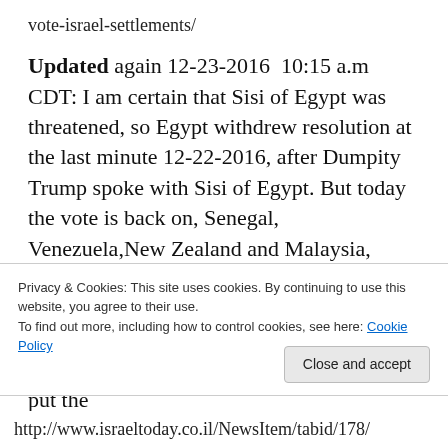vote-israel-settlements/
Updated again 12-23-2016  10:15 a.m CDT: I am certain that Sisi of Egypt was threatened, so Egypt withdrew resolution at the last minute 12-22-2016, after Dumpity Trump spoke with Sisi of Egypt. But today the vote is back on, Senegal, Venezuela,New Zealand and Malaysia, these 4 brave UN Members push the vote, Now I am more than certain it will be vetoed by Obama, for he will bow to appease Sanhedrin. This will permanently put the
Privacy & Cookies: This site uses cookies. By continuing to use this website, you agree to their use.
To find out more, including how to control cookies, see here: Cookie Policy
Close and accept
http://www.israeltoday.co.il/NewsItem/tabid/178/